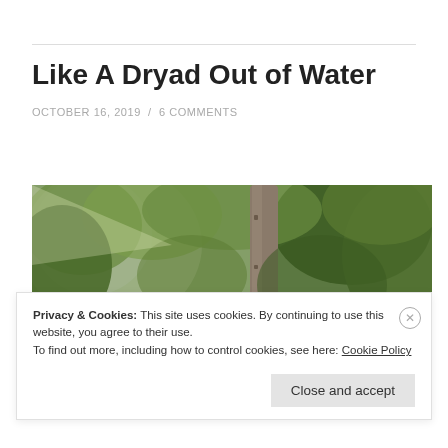Like A Dryad Out of Water
OCTOBER 16, 2019 / 6 COMMENTS
[Figure (photo): Outdoor garden photo showing a stone or bronze statue of a figure next to a tall narrow stone pillar or obelisk, surrounded by lush green trees and foliage, bright light on the left side.]
Privacy & Cookies: This site uses cookies. By continuing to use this website, you agree to their use.
To find out more, including how to control cookies, see here: Cookie Policy
Close and accept